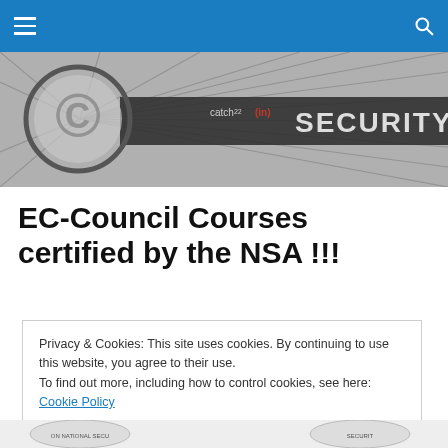[Figure (photo): Black and white banner image with a large C circle logo on the left and text reading catch22 (in)SECURITY with radiating lines in the background]
EC-Council Courses certified by the NSA !!!
Privacy & Cookies: This site uses cookies. By continuing to use this website, you agree to their use.
To find out more, including how to control cookies, see here: Cookie Policy
Close and accept
[Figure (photo): Bottom strip showing partial security-related logos/seals]